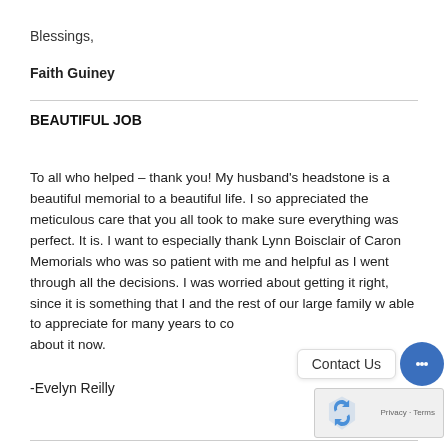Blessings,
Faith Guiney
BEAUTIFUL JOB
To all who helped – thank you! My husband's headstone is a beautiful memorial to a beautiful life. I so appreciated the meticulous care that you all took to make sure everything was perfect. It is. I want to especially thank Lynn Boisclair of Caron Memorials who was so patient with me and helpful as I went through all the decisions. I was worried about getting it right, since it is something that I and the rest of our large family w able to appreciate for many years to co about it now.
-Evelyn Reilly